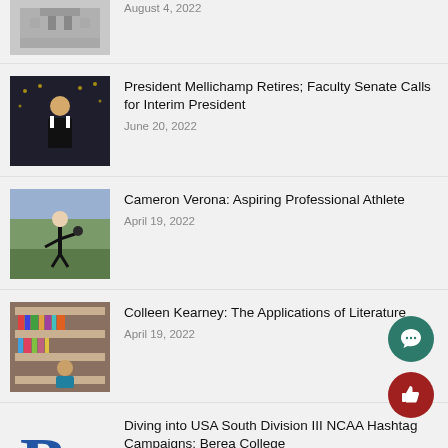[Figure (photo): Building exterior thumbnail (partial, top cropped)]
August 4, 2022
[Figure (photo): Person standing in formal attire in front of a decorated interior]
President Mellichamp Retires; Faculty Senate Calls for Interim President
June 20, 2022
[Figure (photo): Athlete in action on a sports field]
Cameron Verona: Aspiring Professional Athlete
April 19, 2022
[Figure (photo): Person sitting in front of library bookshelves]
Colleen Kearney: The Applications of Literature
April 19, 2022
[Figure (logo): Berea College logo - blue B and C letters]
Diving into USA South Division III NCAA Hashtag Campaigns: Berea College
April 14, 2022